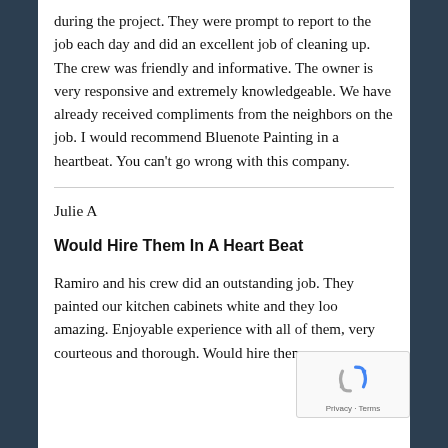during the project. They were prompt to report to the job each day and did an excellent job of cleaning up. The crew was friendly and informative. The owner is very responsive and extremely knowledgeable. We have already received compliments from the neighbors on the job. I would recommend Bluenote Painting in a heartbeat. You can't go wrong with this company.
Julie A
Would Hire Them In A Heart Beat
Ramiro and his crew did an outstanding job. They painted our kitchen cabinets white and they loo amazing. Enjoyable experience with all of them, very courteous and thorough. Would hire them